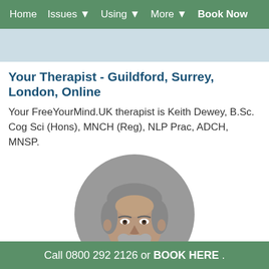Home  Issues ▼  Using ▼  More ▼  Book Now
Your Therapist - Guildford, Surrey, London, Online
Your FreeYourMind.UK therapist is Keith Dewey, B.Sc. Cog Sci (Hons), MNCH (Reg), NLP Prac, ADCH, MNSP.
[Figure (photo): Black and white circular portrait photo of Keith Dewey, a middle-aged man with short salt-and-pepper hair and a beard, smiling, wearing a dark top.]
Call 0800 292 2126 or BOOK HERE .